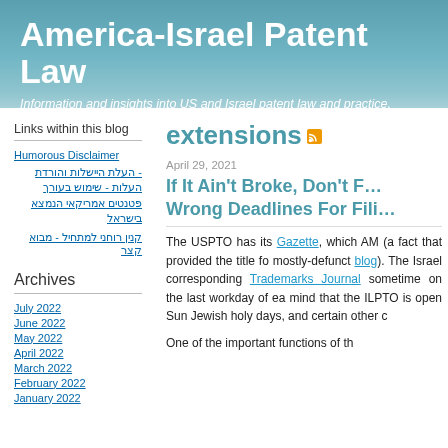America-Israel Patent Law
Information and insights into US and Israel patent law and practice, particula
Links within this blog
Humorous Disclaimer
- העלת היישלות והורדת העלות - שימוש בעורך פטנטים אמריקאי הנמצא בישראל
קנין רוחני למתחיל - מבוא קצר
Archives
July 2022
June 2022
May 2022
April 2022
March 2022
February 2022
January 2022
extensions
April 29, 2021
If It Ain't Broke, Don't F… Wrong Deadlines For Fili…
The USPTO has its Gazette, which AM (a fact that provided the title fo mostly-defunct blog). The Israel corresponding Trademarks Journal sometime on the last workday of ea mind that the ILPTO is open Sun Jewish holy days, and certain other c
One of the important functions of th